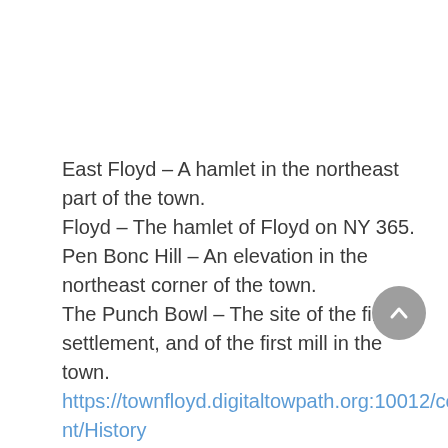East Floyd – A hamlet in the northeast part of the town.
Floyd – The hamlet of Floyd on NY 365.
Pen Bonc Hill – An elevation in the northeast corner of the town.
The Punch Bowl – The site of the first settlement, and of the first mill in the town.
https://townfloyd.digitaltowpath.org:10012/content/History
South Hill – A small mountain range in the northeast corner of the town. Partially in the Town of Western.
Steuben Valley – A hamlet at the northeast corner